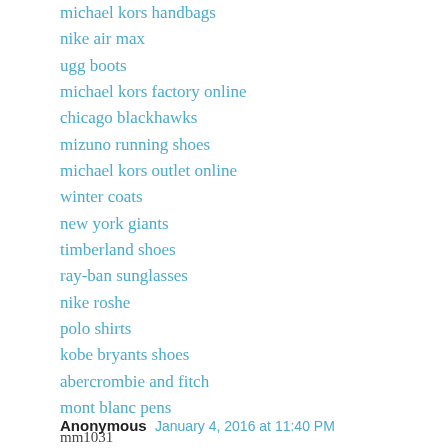michael kors handbags
nike air max
ugg boots
michael kors factory online
chicago blackhawks
mizuno running shoes
michael kors outlet online
winter coats
new york giants
timberland shoes
ray-ban sunglasses
nike roshe
polo shirts
kobe bryants shoes
abercrombie and fitch
mont blanc pens
mm1031
Reply
Anonymous  January 4, 2016 at 11:40 PM